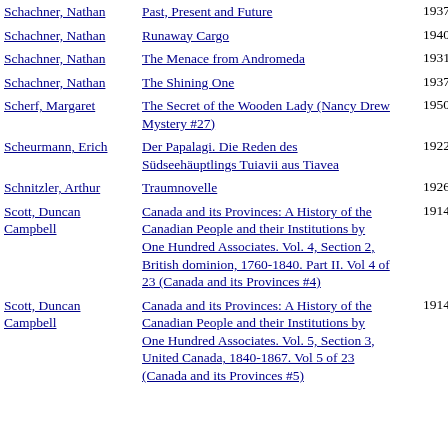| Author | Title | Year |
| --- | --- | --- |
| Schachner, Nathan | Past, Present and Future | 1937 |
| Schachner, Nathan | Runaway Cargo | 1940 |
| Schachner, Nathan | The Menace from Andromeda | 1931 |
| Schachner, Nathan | The Shining One | 1937 |
| Scherf, Margaret | The Secret of the Wooden Lady (Nancy Drew Mystery #27) | 1950 |
| Scheurmann, Erich | Der Papalagi. Die Reden des Südseehäuptlings Tuiavii aus Tiavea | 1922 |
| Schnitzler, Arthur | Traumnovelle | 1926 |
| Scott, Duncan Campbell | Canada and its Provinces: A History of the Canadian People and their Institutions by One Hundred Associates. Vol. 4, Section 2, British dominion, 1760-1840. Part II. Vol 4 of 23 (Canada and its Provinces #4) | 1914 |
| Scott, Duncan Campbell | Canada and its Provinces: A History of the Canadian People and their Institutions by One Hundred Associates. Vol. 5, Section 3, United Canada, 1840-1867. Vol 5 of 23 (Canada and its Provinces #5) | 1914 |